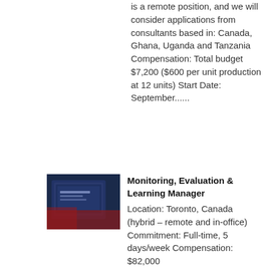is a remote position, and we will consider applications from consultants based in: Canada, Ghana, Uganda and Tanzania Compensation: Total budget $7,200 ($600 per unit production at 12 units) Start Date: September......
[Figure (photo): Dark blue background with a tablet/screen showing text 'YouthMonitor' or similar, used as a thumbnail for the job listing]
Monitoring, Evaluation & Learning Manager
Location: Toronto, Canada (hybrid – remote and in-office) Commitment: Full-time, 5 days/week Compensation: $82,000